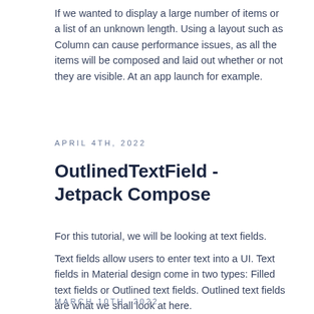If we wanted to display a large number of items or a list of an unknown length. Using a layout such as Column can cause performance issues, as all the items will be composed and laid out whether or not they are visible. At an app launch for example.
APRIL 4TH, 2022
OutlinedTextField - Jetpack Compose
For this tutorial, we will be looking at text fields.
Text fields allow users to enter text into a UI. Text fields in Material design come in two types: Filled text fields or Outlined text fields. Outlined text fields are what we shall look at here.
MARCH 10TH, 2022